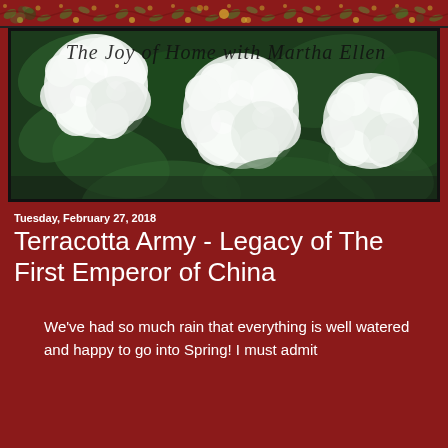[Figure (photo): Decorative ornamental red banner with floral/botanical pattern at the top of the page]
[Figure (photo): Blog header image showing white snowball hydrangea flowers against dark green foliage, with cursive text overlay reading 'The Joy of Home with Martha Ellen']
Tuesday, February 27, 2018
Terracotta Army - Legacy of The First Emperor of China
We've had so much rain that everything is well watered and happy to go into Spring! I must admit